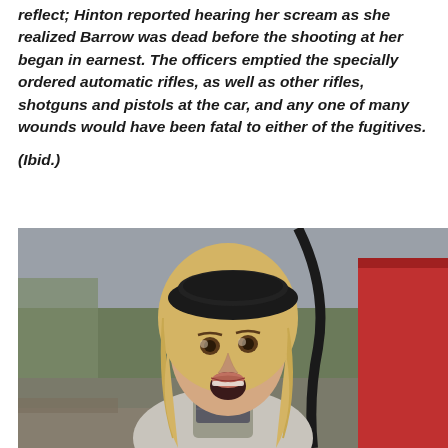reflect; Hinton reported hearing her scream as she realized Barrow was dead before the shooting at her began in earnest. The officers emptied the specially ordered automatic rifles, as well as other rifles, shotguns and pistols at the car, and any one of many wounds would have been fatal to either of the fugitives.
(Ibid.)
[Figure (photo): A blonde woman wearing a black beret and patterned neckerchief, looking over her shoulder with mouth open in an expression of shock or surprise, beside a red structure and a dark hose. Appears to be a still from the 1967 film Bonnie and Clyde.]